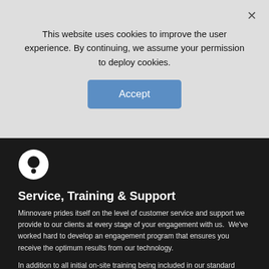This website uses cookies to improve the user experience. By continuing, we assume your permission to deploy cookies.
[Figure (other): Accept button for cookie consent]
[Figure (logo): Minnovare logo - white circle with black dot and smaller dot below]
Service, Training & Support
Minnovare prides itself on the level of customer service and support we provide to our clients at every stage of your engagement with us. We've worked hard to develop an engagement program that ensures you receive the optimum results from our technology.
In addition to all initial on-site training being included in our standard implementation plan, we provide regular refresher training sessions, as well as ad-hoc training sessions as required.